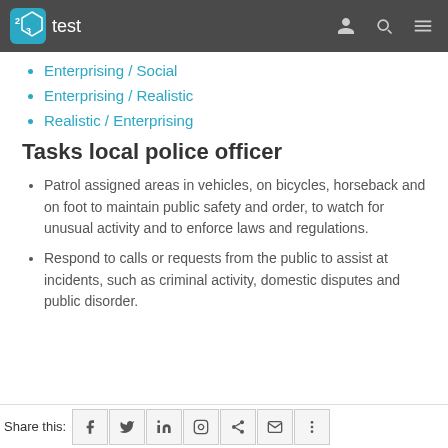23test (navigation bar with logo)
Enterprising / Social
Enterprising / Realistic
Realistic / Enterprising
Tasks local police officer
Patrol assigned areas in vehicles, on bicycles, horseback and on foot to maintain public safety and order, to watch for unusual activity and to enforce laws and regulations.
Respond to calls or requests from the public to assist at incidents, such as criminal activity, domestic disputes and public disorder.
Share this: